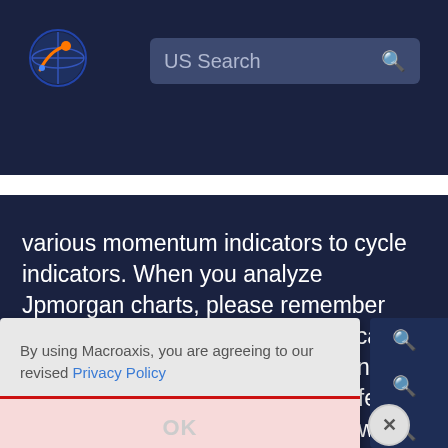US Search
various momentum indicators to cycle indicators. When you analyze Jpmorgan charts, please remember that the event formation may indicate an entry point for a short seller, and look at other indicators across different periods to confirm that a breakdown or reversion is likely to occur.
By using Macroaxis, you are agreeing to our revised Privacy Policy
OK